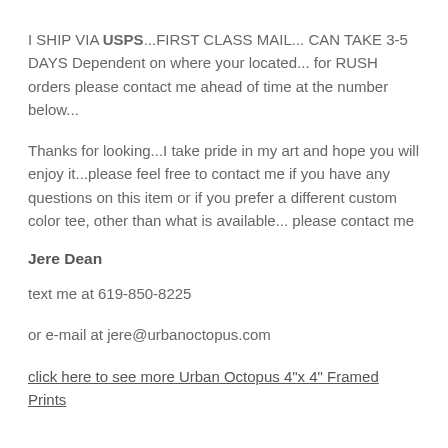I SHIP VIA USPS...FIRST CLASS MAIL... CAN TAKE 3-5 DAYS Dependent on where your located... for RUSH orders please contact me ahead of time at the number below...
Thanks for looking...I take pride in my art and hope you will enjoy it...please feel free to contact me if you have any questions on this item or if you prefer a different custom color tee, other than what is available... please contact me
Jere Dean
text me at 619-850-8225
or e-mail at jere@urbanoctopus.com
click here to see more Urban Octopus 4"x 4" Framed Prints